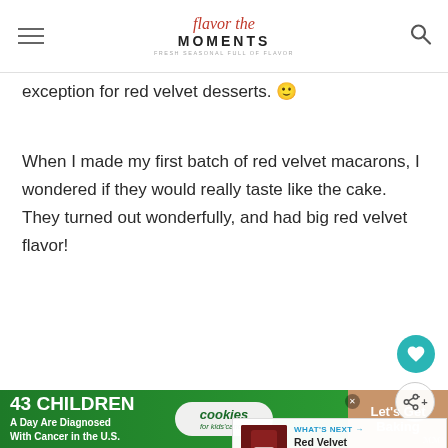flavor the MOMENTS
exception for red velvet desserts. 🙂
When I made my first batch of red velvet macarons, I wondered if they would really taste like the cake.  They turned out wonderfully, and had big red velvet flavor!
[Figure (photo): Red velvet macarons with white cream filling on a light background]
WHAT'S NEXT → Red Velvet Cupcakes wi...
[Figure (infographic): Advertisement banner: 43 CHILDREN A Day Are Diagnosed With Cancer in the U.S. — cookies for kids' cancer — Let's Get Baking]